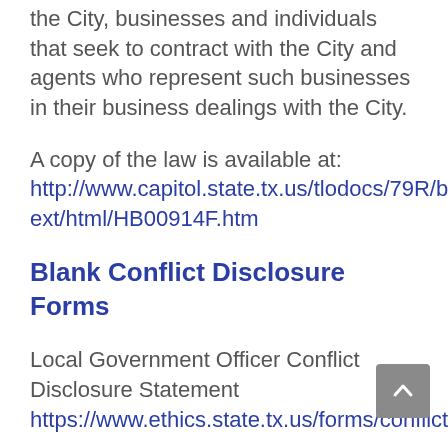the City, businesses and individuals that seek to contract with the City and agents who represent such businesses in their business dealings with the City.
A copy of the law is available at: http://www.capitol.state.tx.us/tlodocs/79R/billtext/html/HB00914F.htm
Blank Conflict Disclosure Forms
Local Government Officer Conflict Disclosure Statement https://www.ethics.state.tx.us/forms/conflict/
Vendor Conflict of Interest Questionnaire https://www.ethics.state.tx.us/forms/conflict/